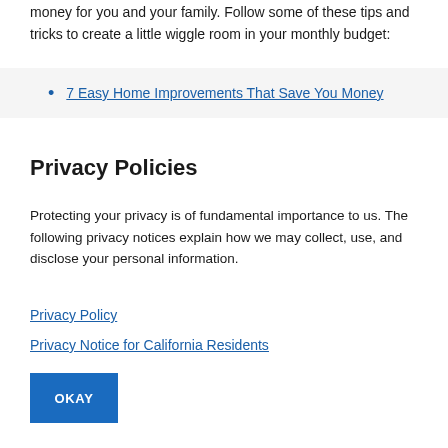money for you and your family. Follow some of these tips and tricks to create a little wiggle room in your monthly budget:
7 Easy Home Improvements That Save You Money
Privacy Policies
Protecting your privacy is of fundamental importance to us. The following privacy notices explain how we may collect, use, and disclose your personal information.
Privacy Policy
Privacy Notice for California Residents
OKAY